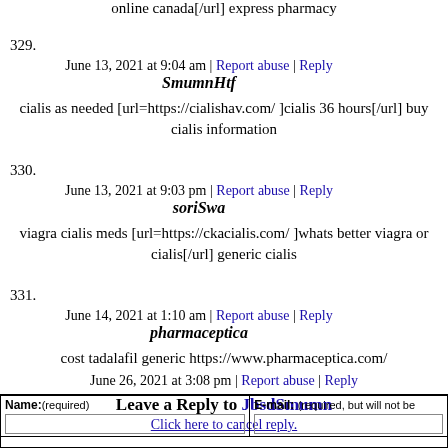online canada[/url] express pharmacy
June 13, 2021 at 9:04 am | Report abuse | Reply
329. SmumnHtf
cialis as needed [url=https://cialishav.com/ ]cialis 36 hours[/url] buy cialis information
June 13, 2021 at 9:03 pm | Report abuse | Reply
330. soriSwa
viagra cialis meds [url=https://ckacialis.com/ ]whats better viagra or cialis[/url] generic cialis
June 14, 2021 at 1:10 am | Report abuse | Reply
331. pharmaceptica
cost tadalafil generic https://www.pharmaceptica.com/
June 26, 2021 at 3:08 pm | Report abuse | Reply
Leave a Reply to JbsdSmumn
Click here to cancel reply.
| Name:(required) | E-mail: (required, but will not be |
| --- | --- |
|  |  |